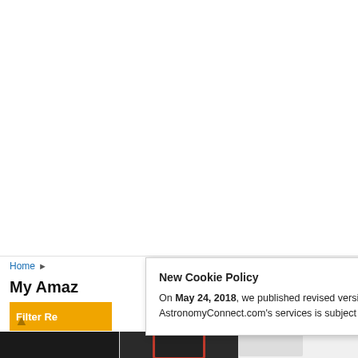Home
My Amaz
[Figure (screenshot): Cookie policy popup overlay on AstronomyConnect.com website showing 'New Cookie Policy' notification with close button, links to Terms and Rules and Cookie Policy]
Filter Re
[Figure (photo): Product images strip at bottom showing telescope accessories/eyepieces in dark and white colors]